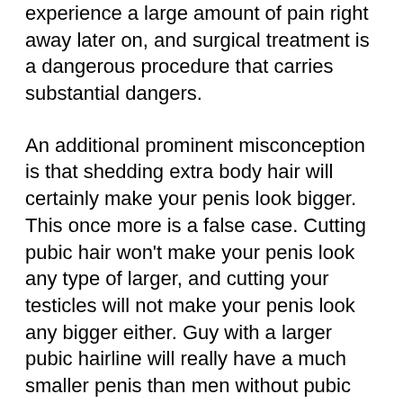experience a large amount of pain right away later on, and surgical treatment is a dangerous procedure that carries substantial dangers.
An additional prominent misconception is that shedding extra body hair will certainly make your penis look bigger. This once more is a false case. Cutting pubic hair won't make your penis look any type of larger, and cutting your testicles will not make your penis look any bigger either. Guy with a larger pubic hairline will really have a much smaller penis than men without pubic hair at all – it's simply that guys with a bigger pubic hairline also tend to have a more knitted penis also, so overall look doesn't play much of a duty.